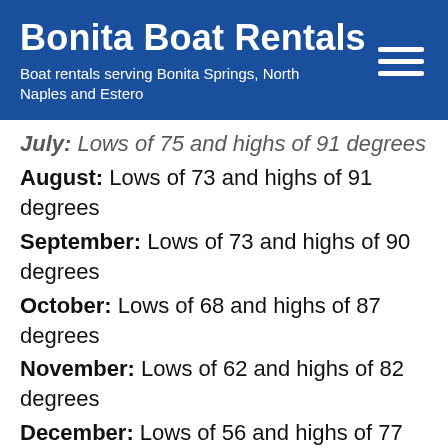Bonita Boat Rentals
Boat rentals serving Bonita Springs, North Naples and Estero
July: Lows of 75 and highs of 91 degrees
August: Lows of 73 and highs of 91 degrees
September: Lows of 73 and highs of 90 degrees
October: Lows of 68 and highs of 87 degrees
November: Lows of 62 and highs of 82 degrees
December: Lows of 56 and highs of 77 degrees
If you want fun in the sun, the months of May-September provide the best average temperatures, with April and September having slightly milder temperatures. Tourists visit Bonita Springs all year long to enjoy the beautiful sunsets and the sandy beaches. You'll find that Bonita Springs is less crowded than the